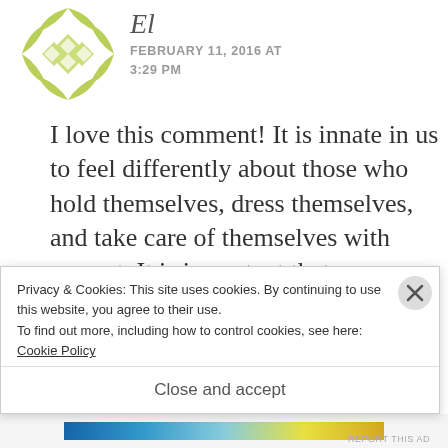[Figure (illustration): Green diamond-pattern circular avatar icon for user 'El']
El
FEBRUARY 11, 2016 AT 3:29 PM
I love this comment! It is innate in us to feel differently about those who hold themselves, dress themselves, and take care of themselves with respect. It is important that we remember who
Privacy & Cookies: This site uses cookies. By continuing to use this website, you agree to their use.
To find out more, including how to control cookies, see here:
Cookie Policy
Close and accept